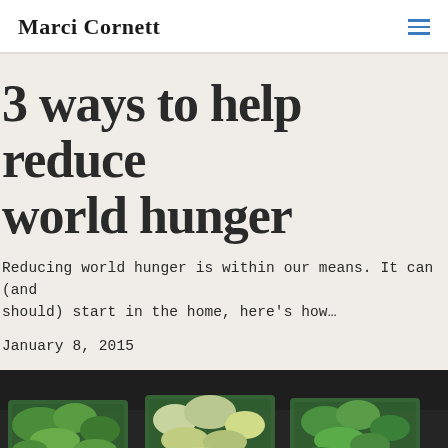Marci Cornett
3 ways to help reduce world hunger
Reducing world hunger is within our means. It can (and should) start in the home, here’s how…
January 8, 2015
[Figure (photo): Photo of crates of fresh green leafy vegetables at a market or farm stand, viewed from above at a slight angle. Dark background with several blue/teal plastic crates filled with various green vegetables including lettuce and leafy greens.]